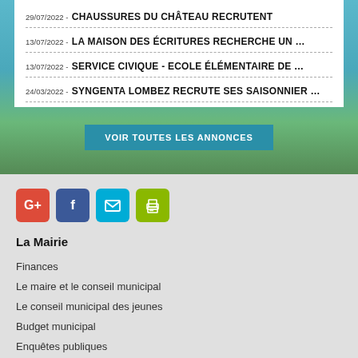29/07/2022 - CHAUSSURES DU CHÂTEAU RECRUTENT
13/07/2022 - LA MAISON DES ÉCRITURES RECHERCHE UN …
13/07/2022 - SERVICE CIVIQUE - ECOLE ÉLÉMENTAIRE DE …
24/03/2022 - SYNGENTA LOMBEZ RECRUTE SES SAISONNIER …
VOIR TOUTES LES ANNONCES
[Figure (infographic): Four social media/action icon buttons: Google+, Facebook, Email, Print]
La Mairie
Finances
Le maire et le conseil municipal
Le conseil municipal des jeunes
Budget municipal
Enquêtes publiques
Marchés publics